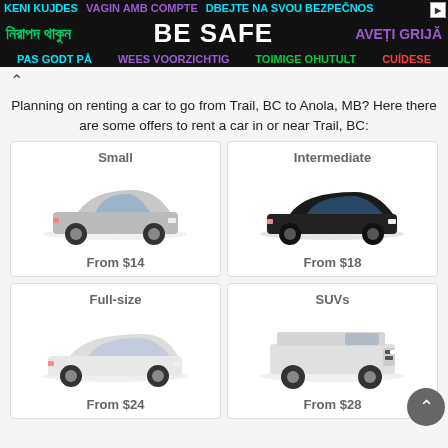[Figure (infographic): Multilingual 'BE SAFE' advertisement banner with text in multiple languages and colors on black background]
Planning on renting a car to go from Trail, BC to Anola, MB? Here there are some offers to rent a car in or near Trail, BC:
[Figure (illustration): Small car (silver hatchback) - From $14]
[Figure (illustration): Intermediate car (black sedan) - From $18]
[Figure (illustration): Full-size car (white sedan) - From $24]
[Figure (illustration): SUVs (white Jeep-style SUV) - From $28]